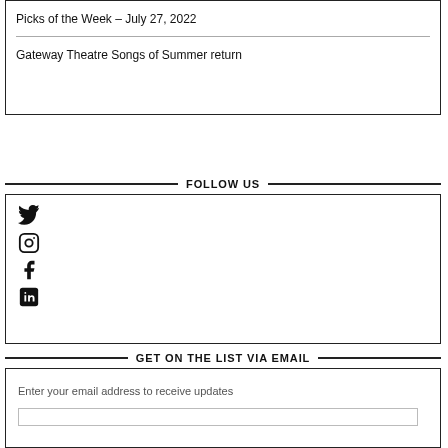Picks of the Week – July 27, 2022
Gateway Theatre Songs of Summer return
FOLLOW US
[Figure (other): Social media icons: Twitter, Instagram, Facebook, LinkedIn]
GET ON THE LIST VIA EMAIL
Enter your email address to receive updates